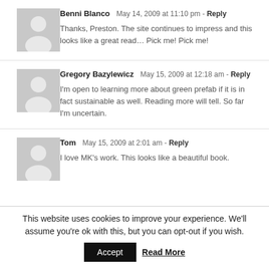Benni Blanco  May 14, 2009 at 11:10 pm - Reply
Thanks, Preston. The site continues to impress and this looks like a great read… Pick me! Pick me!
Gregory Bazylewicz  May 15, 2009 at 12:18 am - Reply
I'm open to learning more about green prefab if it is in fact sustainable as well. Reading more will tell. So far I'm uncertain.
Tom  May 15, 2009 at 2:01 am - Reply
I love MK's work. This looks like a beautiful book.
This website uses cookies to improve your experience. We'll assume you're ok with this, but you can opt-out if you wish.
Accept  Read More